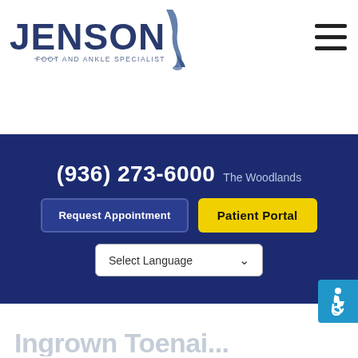[Figure (logo): Jenson Foot and Ankle Specialist logo with stylized leg/ankle graphic]
(936) 273-6000  The Woodlands
Request Appointment
Patient Portal
Select Language
[Figure (illustration): Accessibility icon (wheelchair symbol) in blue button on right side]
Ingrown Toenai...